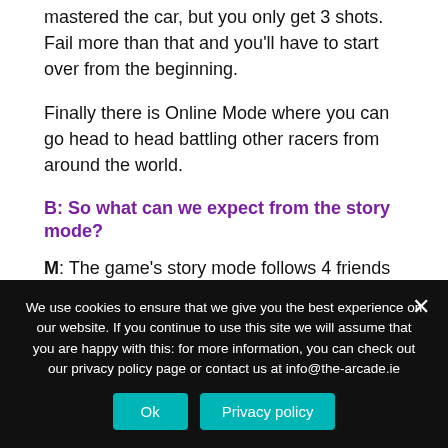mastered the car, but you only get 3 shots. Fail more than that and you'll have to start over from the beginning.
Finally there is Online Mode where you can go head to head battling other racers from around the world.
B: So what can we expect from the story mode?
M: The game's story mode follows 4 friends practicing their driving in their new cars in preparation for a local Grand Prix event. It's a simple narrative designed to introduce you to the game's main concepts and skill you up from the easiest cars to the hardest ones so it's a great place to start. Each of the
We use cookies to ensure that we give you the best experience on our website. If you continue to use this site we will assume that you are happy with this: for more information, you can check out our privacy policy page or contact us at info@the-arcade.ie